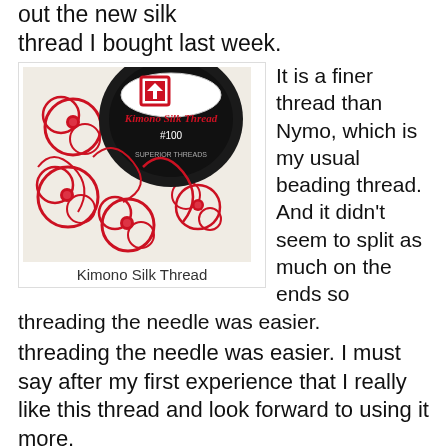out the new silk thread I bought last week.
[Figure (photo): Photo of Kimono Silk Thread spool labeled '#100 Superior Threads' with red floral beading work on white fabric in the background.]
Kimono Silk Thread
It is a finer thread than Nymo, which is my usual beading thread. And it didn't seem to split as much on the ends so threading the needle was easier. I must say after my first experience that I really like this thread and look forward to using it more.